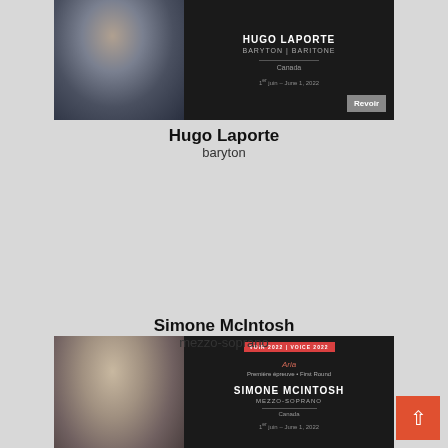[Figure (photo): Card for Hugo Laporte, baritone, Canada. Shows performer photo on left, dark background with name, voice type, country, date 1er juin – June 1, 2022, and Revoir button on right.]
Hugo Laporte
baryton
[Figure (photo): Card for Simone McIntosh, mezzo-soprano, Canada. Shows performer photo, VOIR 2022 | VOICE 2022 badge, Aria, Première épreuve • First Round, name, voice type, country, date 1er juin – June 1, 2022, and Revoir button.]
Simone McIntosh
mezzo-soprano
[Figure (photo): Partial card at bottom of page for another performer. Shows performer photo, VOIR 2022 | VOICE 2022 badge, Aria, Première épreuve • First Round, with orange scroll-to-top button visible.]